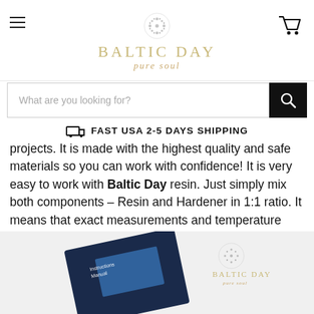BALTIC DAY pure soul
What are you looking for?
FAST USA 2-5 DAYS SHIPPING
projects. It is made with the highest quality and safe materials so you can work with confidence! It is very easy to work with Baltic Day resin. Just simply mix both components – Resin and Hardener in 1:1 ratio. It means that exact measurements and temperature adherence are important factors.
[Figure (photo): Baltic Day product photo showing instruction manual and branded packaging with Baltic Day logo and 'pure soul' tagline]